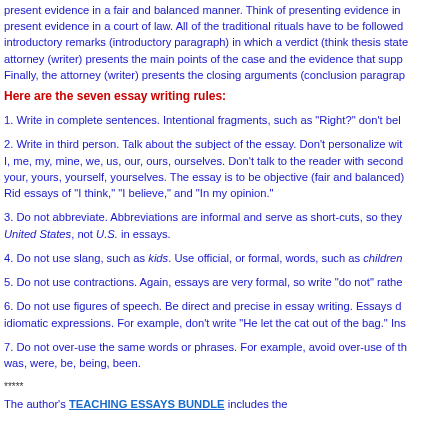present evidence in a fair and balanced manner. Think of presenting evidence in a court of law. All of the traditional rituals have to be followed: introductory remarks (introductory paragraph) in which a verdict (think thesis statement) attorney (writer) presents the main points of the case and the evidence that supports it. Finally, the attorney (writer) presents the closing arguments (conclusion paragraph).
Here are the seven essay writing rules:
1. Write in complete sentences. Intentional fragments, such as "Right?" don't bel
2. Write in third person. Talk about the subject of the essay. Don't personalize with I, me, my, mine, we, us, our, ours, ourselves. Don't talk to the reader with second your, yours, yourself, yourselves. The essay is to be objective (fair and balanced). Rid essays of "I think," "I believe," and "In my opinion."
3. Do not abbreviate. Abbreviations are informal and serve as short-cuts, so they United States, not U.S. in essays.
4. Do not use slang, such as kids. Use official, or formal, words, such as children
5. Do not use contractions. Again, essays are very formal, so write "do not" rathe
6. Do not use figures of speech. Be direct and precise in essay writing. Essays do idiomatic expressions. For example, don't write "He let the cat out of the bag." Ins
7. Do not over-use the same words or phrases. For example, avoid over-use of the was, were, be, being, been.
*****
The author's TEACHING ESSAYS BUNDLE includes the